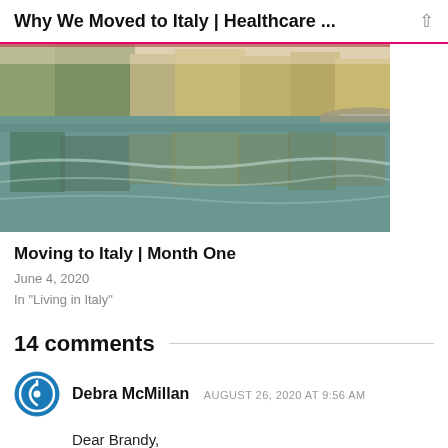Why We Moved to Italy | Healthcare ...
[Figure (photo): Panoramic photo of an Italian city waterfront with river reflection, bridges and historic buildings, upside-down reflected in green water]
Moving to Italy | Month One
June 4, 2020
In "Living in Italy"
14 comments
Debra McMillan  AUGUST 26, 2020 AT 9:56 AM
Dear Brandy,
Just found your blog tonight while attempting